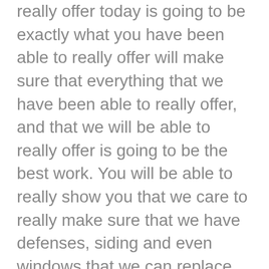everything that we have been able to really offer today is going to be exactly what you have been able to really offer will make sure that everything that we have been able to really offer, and that we will be able to really offer is going to be the best work. You will be able to really show you that we care to really make sure that we have defenses, siding and even windows that we can replace.
We will really show you that we have the better Amarillo fence replacement, and that we will be able to really make sure that this is going to be what you have always wanted today. You will be able to see that this fence replacement service